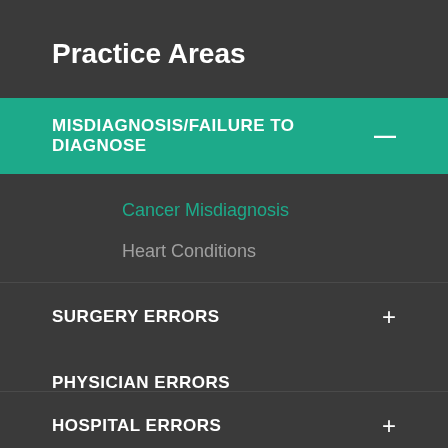Practice Areas
MISDIAGNOSIS/FAILURE TO DIAGNOSE
Cancer Misdiagnosis
Heart Conditions
SURGERY ERRORS
PHYSICIAN ERRORS
HOSPITAL ERRORS